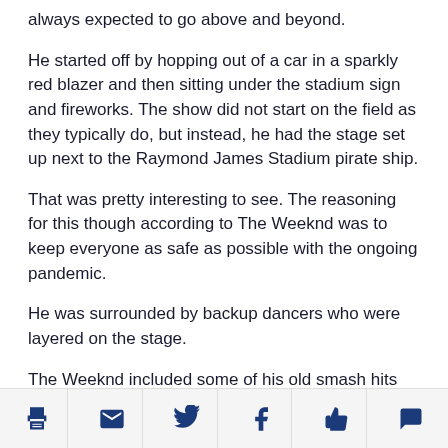always expected to go above and beyond.
He started off by hopping out of a car in a sparkly red blazer and then sitting under the stadium sign and fireworks. The show did not start on the field as they typically do, but instead, he had the stage set up next to the Raymond James Stadium pirate ship.
That was pretty interesting to see. The reasoning for this though according to The Weeknd was to keep everyone as safe as possible with the ongoing pandemic.
He was surrounded by backup dancers who were layered on the stage.
The Weeknd included some of his old smash hits like “The Hills” and “Earned It,” which was very much appreciated by fans of his earlier tunes.
[print] [email] [twitter] [facebook] [like] [comment]